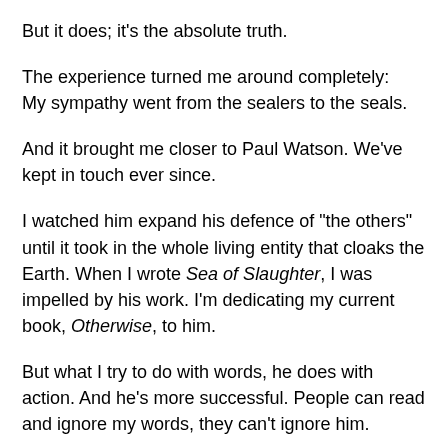But it does; it's the absolute truth.
The experience turned me around completely: My sympathy went from the sealers to the seals.
And it brought me closer to Paul Watson. We've kept in touch ever since.
I watched him expand his defence of "the others" until it took in the whole living entity that cloaks the Earth. When I wrote Sea of Slaughter, I was impelled by his work. I'm dedicating my current book, Otherwise, to him.
But what I try to do with words, he does with action. And he's more successful. People can read and ignore my words, they can't ignore him.
In 1998, we went out together on his ship, the Sea Shepherd, to try to stop the seal hunt. We couldn't get near it; we were shadowed every step of the way by the Department of Fisheries'